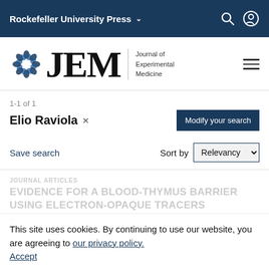Rockefeller University Press
[Figure (logo): JEM - Journal of Experimental Medicine logo with blue flower emblem and serif JEM letters]
1-1 of 1
Elio Raviola ×
Modify your search
Save search
Sort by Relevancy
JOURNAL ARTICLES
EVIDENCE FOR A BLOOD-THYMUS BARRIER USING ELECTRON-OPAQUE TRACERS
Elio Raviola, Morris J. Karnovsky
This site uses cookies. By continuing to use our website, you are agreeing to our privacy policy. Accept